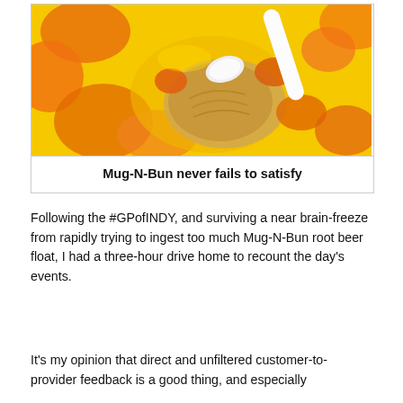[Figure (photo): Close-up photo of a root beer float with orange/red fruit pieces in yellow liquid, being scooped with a white spoon, with a bright yellow and orange background]
Mug-N-Bun never fails to satisfy
Following the #GPofINDY, and surviving a near brain-freeze from rapidly trying to ingest too much Mug-N-Bun root beer float, I had a three-hour drive home to recount the day's events.
It's my opinion that direct and unfiltered customer-to-provider feedback is a good thing, and especially